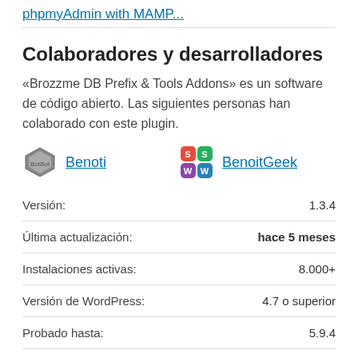phpmyAdmin with MAMP...
Colaboradores y desarrolladores
«Brozzme DB Prefix & Tools Addons» es un software de código abierto. Las siguientes personas han colaborado con este plugin.
Benoti
BenoitGeek
|  |  |
| --- | --- |
| Versión: | 1.3.4 |
| Última actualización: | hace 5 meses |
| Instalaciones activas: | 8.000+ |
| Versión de WordPress: | 4.7 o superior |
| Probado hasta: | 5.9.4 |